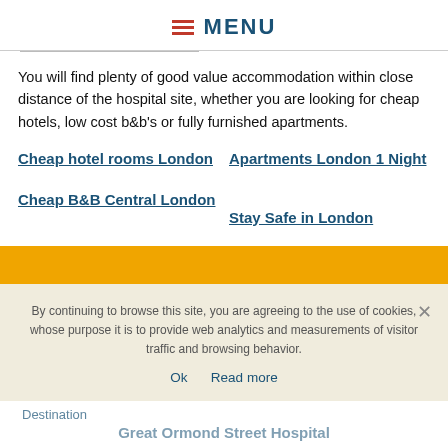MENU
You will find plenty of good value accommodation within close distance of the hospital site, whether you are looking for cheap hotels, low cost b&b's or fully furnished apartments.
Cheap hotel rooms London
Apartments London 1 Night
Cheap B&B Central London
Stay Safe in London
By continuing to browse this site, you are agreeing to the use of cookies, whose purpose it is to provide web analytics and measurements of visitor traffic and browsing behavior.
Ok  Read more
Destination
Great Ormond Street Hospital